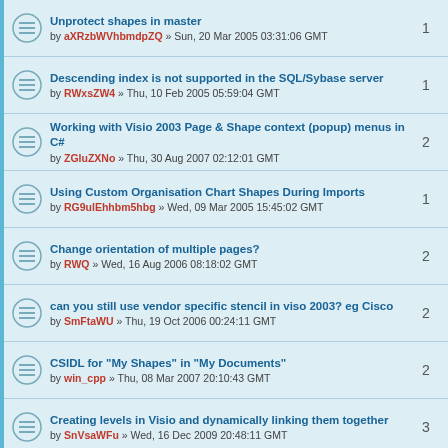Unprotect shapes in master by aXRzbWVhbmdpZQ » Sun, 20 Mar 2005 03:31:06 GMT — 1
Descending index is not supported in the SQL/Sybase server by RWxsZW4 » Thu, 10 Feb 2005 05:59:04 GMT — 1
Working with Visio 2003 Page & Shape context (popup) menus in C# by ZGluZXNo » Thu, 30 Aug 2007 02:12:01 GMT — 2
Using Custom Organisation Chart Shapes During Imports by RG9ulEhhbm5hbg » Wed, 09 Mar 2005 15:45:02 GMT — 1
Change orientation of multiple pages? by RWQ » Wed, 16 Aug 2006 08:18:02 GMT — 2
can you still use vendor specific stencil in viso 2003? eg Cisco by SmFtaWU » Thu, 19 Oct 2006 00:24:11 GMT — 2
CSIDL for "My Shapes" in "My Documents" by win_cpp » Thu, 08 Mar 2007 20:10:43 GMT — 2
Creating levels in Visio and dynamically linking them together by SnVsaWFu » Wed, 16 Dec 2009 20:48:11 GMT — 3
Export format by RCBNYW5u » Sun, 07 Dec 2003 03:46:04 GMT — 2